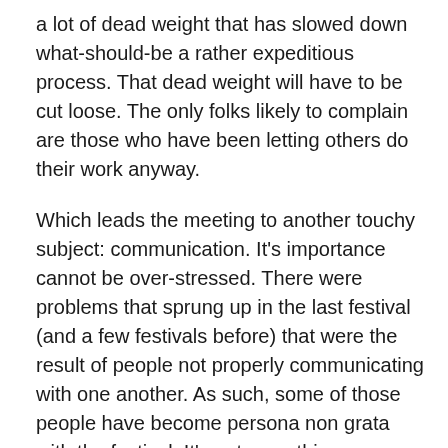a lot of dead weight that has slowed down what-should-be a rather expeditious process. That dead weight will have to be cut loose. The only folks likely to complain are those who have been letting others do their work anyway.
Which leads the meeting to another touchy subject: communication. It's importance cannot be over-stressed. There were problems that sprung up in the last festival (and a few festivals before) that were the result of people not properly communicating with one another. As such, some of those people have become persona non grata with the festival. It's not something anyone likes to do, but when people ignore repeated warnings, then action has to be taken. We want to be invitational, not exclusive. The idea of anyone feeling like they don't belong is something we won't tolerate.